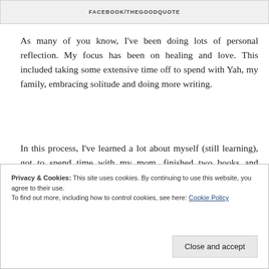FACEBOOK/THEGOODQUOTE
As many of you know, I've been doing lots of personal reflection. My focus has been on healing and love. This included taking some extensive time off to spend with Yah, my family, embracing solitude and doing more writing.
In this process, I've learned a lot about myself (still learning), got to spend time with my mom, finished two books and moved to Georgia.
Privacy & Cookies: This site uses cookies. By continuing to use this website, you agree to their use.
To find out more, including how to control cookies, see here: Cookie Policy